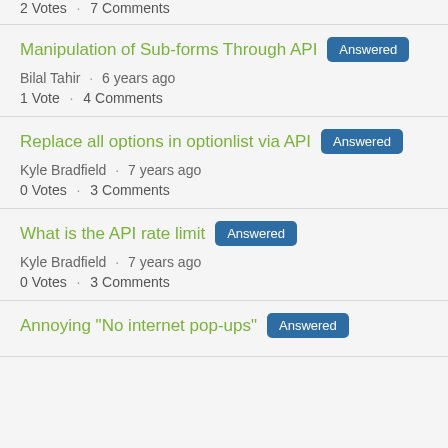2 Votes · 7 Comments
Manipulation of Sub-forms Through API · Answered
Bilal Tahir · 6 years ago
1 Vote · 4 Comments
Replace all options in optionlist via API · Answered
Kyle Bradfield · 7 years ago
0 Votes · 3 Comments
What is the API rate limit · Answered
Kyle Bradfield · 7 years ago
0 Votes · 3 Comments
Annoying "No internet pop-ups" · Answered